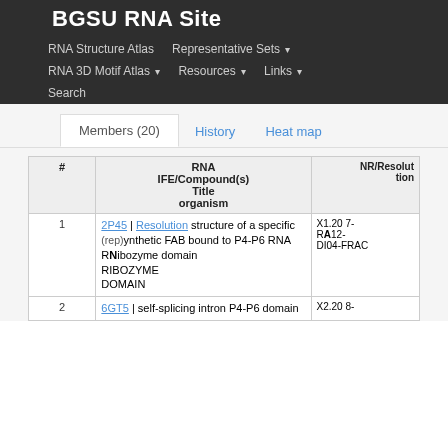BGSU RNA Site
RNA Structure Atlas | Representative Sets ▾ | RNA 3D Motif Atlas ▾ | Resources ▾ | Links ▾ | Search
| # | IFE/Compound(s) RNA Title organism | NR/Resolution |
| --- | --- | --- |
| 1 | 2P45 (rep)
NNb
High resolution structure of a specific synthetic FAB bound to P4-P6 RNA Ribozyme domain RIBOZYME DOMAIN | X1.20 2007-RA12-DI04-FRAC |
| 2 | 6GT5
Group I self-splicing intron P4-P6 domain | X2.20 2018- |